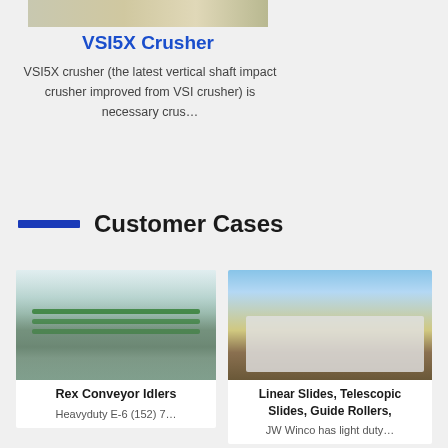[Figure (photo): Partial image of industrial equipment, VSI5X Crusher, showing machinery components]
VSI5X Crusher
VSI5X crusher (the latest vertical shaft impact crusher improved from VSI crusher) is necessary crus…
Customer Cases
[Figure (photo): Interior of industrial warehouse with green conveyor belt systems on reflective floor]
Rex Conveyor Idlers
Heavyduty E-6 (152) 7...
[Figure (photo): Outdoor photo of white mobile crushing and screening plant equipment on dirt ground under blue sky]
Linear Slides, Telescopic Slides, Guide Rollers,
JW Winco has light duty...